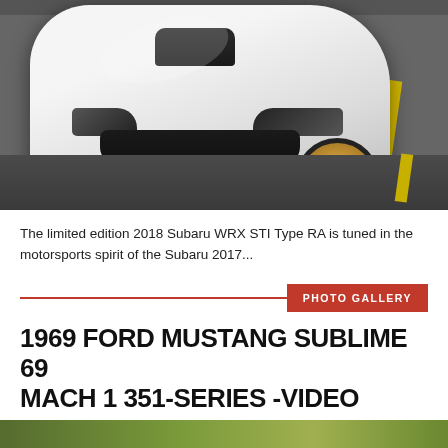[Figure (photo): Front view of a white 2018 Subaru WRX STI Type RA parked in a lot, featuring a hood scoop, black grille, and gold wheels with a yellow parking line visible]
The limited edition 2018 Subaru WRX STI Type RA is tuned in the motorsports spirit of the Subaru 2017...
PHOTO GALLERY
1969 FORD MUSTANG SUBLIME 69 MACH 1 351-SERIES -VIDEO
[Figure (photo): Partial view of a car, appears green/yellow, at the bottom of the page]